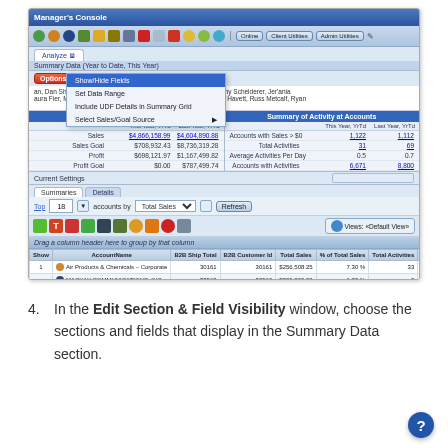[Figure (screenshot): Manager's Console software application window showing the Analyze tab with Summary Data (Year to Date, This Year) panel open, a dropdown menu with options including Show/Hide Fields, Set Data Range, Include UDF Details in Summary Grid, and Select Sales/Goal Source. Two data sections are visible: Sales Information and Summary of Activity at Accounts, with financial figures and activity metrics. Below is a tab panel showing Summaries and Details tabs, with a data grid listing accounts including Air Products & Chemicals – Corporate and MACKAY COMMUNICATIONS, INC.]
4.  In the Edit Section & Field Visibility window, choose the sections and fields that display in the Summary Data section.